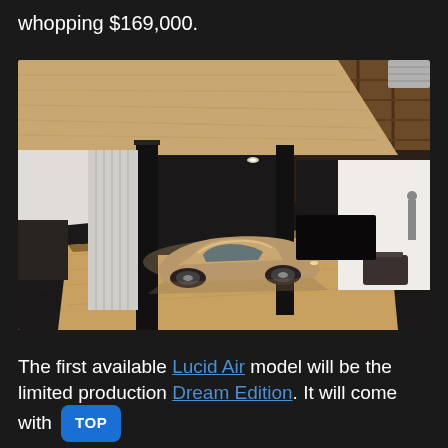whopping $169,000.
[Figure (photo): Interior showroom with a luxury electric car (Lucid Air) on a wooden platform, under a large wooden ceiling panel with exposed rafters above, in a modern studio space with black columns and white walls.]
The first available Lucid Air model will be the limited production Dream Edition. It will come with driving range up to 503 miles, 1080 hp all-wheel drive powertrain and an impressive quarter-mile